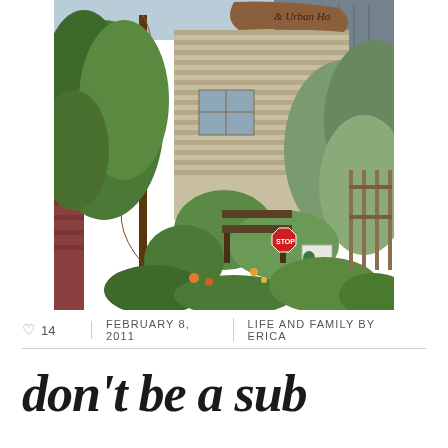[Figure (photo): A lush garden and house exterior with green plants, vines, and trees in the foreground. A wooden bench and a stop sign are visible among the vegetation. A wooden sign partially visible reads '& Urban Ho...' at the top right.]
♡ 14 | FEBRUARY 8, 2011 | LIFE AND FAMILY BY ERICA
don't be a suburb...